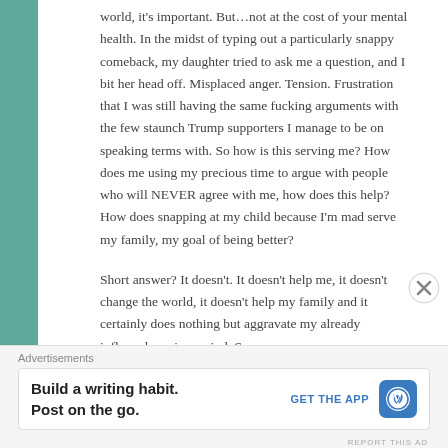world, it's important. But…not at the cost of your mental health. In the midst of typing out a particularly snappy comeback, my daughter tried to ask me a question, and I bit her head off. Misplaced anger. Tension. Frustration that I was still having the same fucking arguments with the few staunch Trump supporters I manage to be on speaking terms with. So how is this serving me? How does me using my precious time to argue with people who will NEVER agree with me, how does this help? How does snapping at my child because I'm mad serve my family, my goal of being better?
Short answer? It doesn't. It doesn't help me, it doesn't change the world, it doesn't help my family and it certainly does nothing but aggravate my already inflamed, anxious mind. So
[Figure (other): Advertisement banner: 'Build a writing habit. Post on the go.' with a GET THE APP call-to-action and WordPress logo icon]